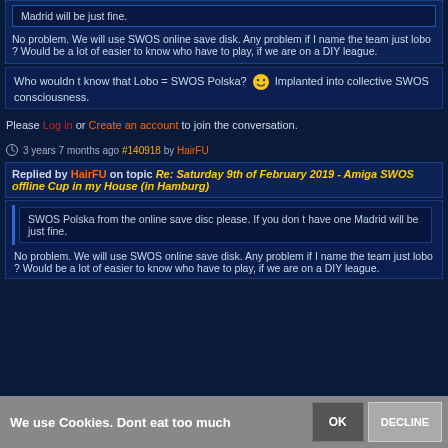Madrid will be just fine.
No problem. We will use SWOS online save disk. Any problem if I name the team just lobo ? Would be a lot of easier to know who have to play, if we are on a DIY league.
Who wouldn t know that Lobo = SWOS Polska? 😊 Implanted into collective SWOS consciousness.
Please Log in or Create an account to join the conversation.
3 years 7 months ago #140918 by HairFU
Replied by HairFU on topic Re: Saturday 9th of February 2019 - Amiga SWOS offline Cup in my House (in Hamburg)
SWOS Polska from the online save disc please. If you don t have one Madrid will be just fine.
No problem. We will use SWOS online save disk. Any problem if I name the team just lobo ? Would be a lot of easier to know who have to play, if we are on a DIY league.
We use Cookies. Dont eat too much